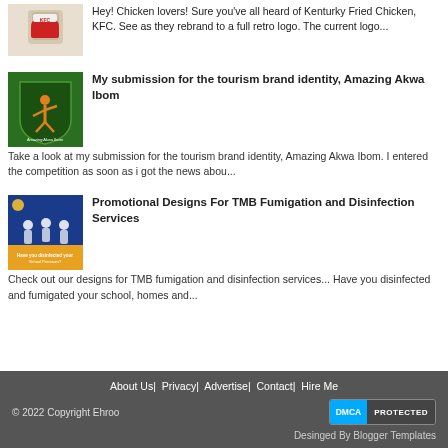[Figure (photo): KFC post thumbnail image showing a person holding a KFC bucket]
Hey! Chicken lovers! Sure you've all heard of Kenturky Fried Chicken, KFC. See as they rebrand to a full retro logo. The current logo...
[Figure (logo): Amazing Akwa Ibom tourism brand logo - green shield with dancer figure]
My submission for the tourism brand identity, Amazing Akwa Ibom
Take a look at my submission for the tourism brand identity, Amazing Akwa Ibom. I entered the competition as soon as i got the news abou...
[Figure (photo): TMB Fumigation and Disinfection Services promotional design - blue background with people in protective gear]
Promotional Designs For TMB Fumigation and Disinfection Services
Check out our designs for TMB fumigation and disinfection services...  Have you disinfected and fumigated your school, homes and...
About Us| Privacy| Advertise| Contact| Hire Me
DMCA PROTECTED
© 2022 Copyright Ehroo
Desinged By Blogger Templates